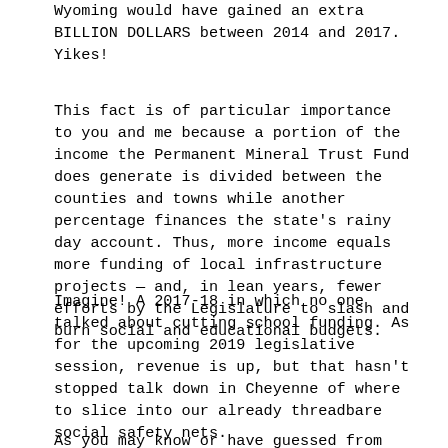Wyoming would have gained an extra BILLION DOLLARS between 2014 and 2017. Yikes!
This fact is of particular importance to you and me because a portion of the income the Permanent Mineral Trust Fund does generate is divided between the counties and towns while another percentage finances the state's rainy day account. Thus, more income equals more funding of local infrastructure projects — and, in lean years, fewer efforts by the Legislature to slash and burn social and educational budgets.
Imagine! A 2017-18 in which no one talked about cutting school funding. As for the upcoming 2019 legislative session, revenue is up, but that hasn't stopped talk down in Cheyenne of where to slice into our already threadbare social safety nets.
As you may know or have guessed from reading the above